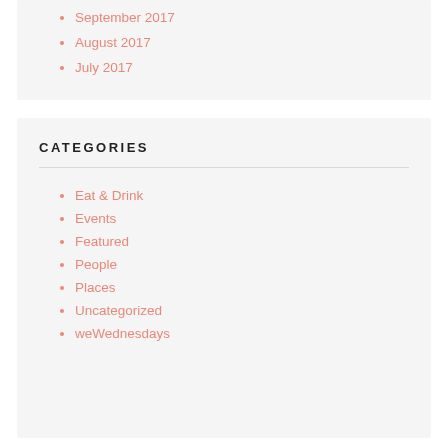September 2017
August 2017
July 2017
CATEGORIES
Eat & Drink
Events
Featured
People
Places
Uncategorized
weWednesdays